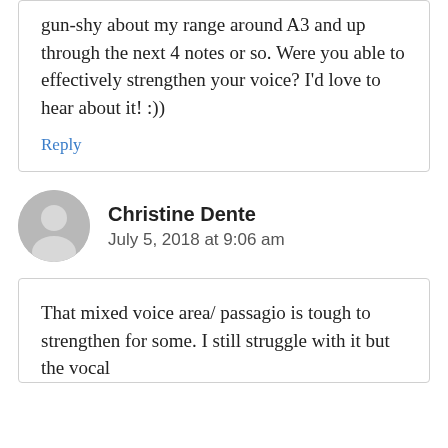gun-shy about my range around A3 and up through the next 4 notes or so. Were you able to effectively strengthen your voice? I'd love to hear about it! :))
Reply
Christine Dente
July 5, 2018 at 9:06 am
That mixed voice area/ passagio is tough to strengthen for some. I still struggle with it but the vocal